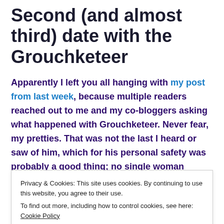Second (and almost third) date with the Grouchketeer
Apparently I left you all hanging with my post from last week, because multiple readers reached out to me and my co-bloggers asking what happened with Grouchketeer. Never fear, my pretties. That was not the last I heard or saw of him, which for his personal safety was probably a good thing; no single woman should have to endure Mr. Sick AND a fade away.
Grouchketeer asked me out again a day or two after our
Privacy & Cookies: This site uses cookies. By continuing to use this website, you agree to their use.
To find out more, including how to control cookies, see here: Cookie Policy
our first one.